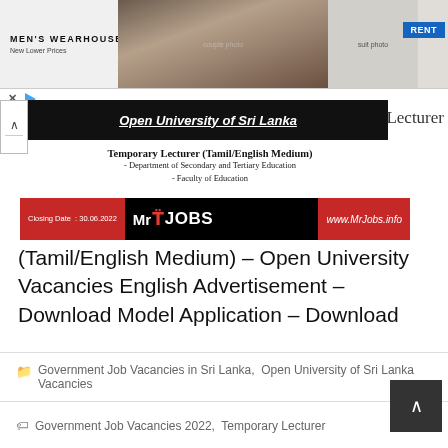[Figure (screenshot): Men's Wearhouse advertisement banner with couple in formalwear and RENT button]
[Figure (screenshot): Open University of Sri Lanka black header bar with 'Lecturer' label to the right]
Temporary Lecturer (Tamil/English Medium)
- Department of Secondary and Tertiary Education
- Faculty of Education
[Figure (screenshot): MrJobs banner with closing date 30.06.2022 and www.MrJobs.info]
(Tamil/English Medium) – Open University Vacancies English Advertisement – Download Model Application – Download
Government Job Vacancies in Sri Lanka,  Open University of Sri Lanka Vacancies
Government Job Vacancies 2022,  Temporary Lecturer